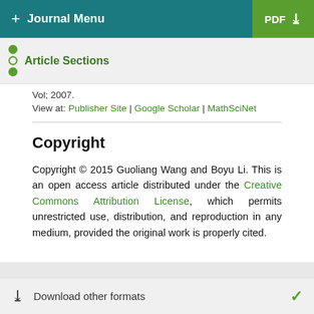+ Journal Menu | PDF ↓
Article Sections
Vol, 2007.
View at: Publisher Site | Google Scholar | MathSciNet
Copyright
Copyright © 2015 Guoliang Wang and Boyu Li. This is an open access article distributed under the Creative Commons Attribution License, which permits unrestricted use, distribution, and reproduction in any medium, provided the original work is properly cited.
Download other formats